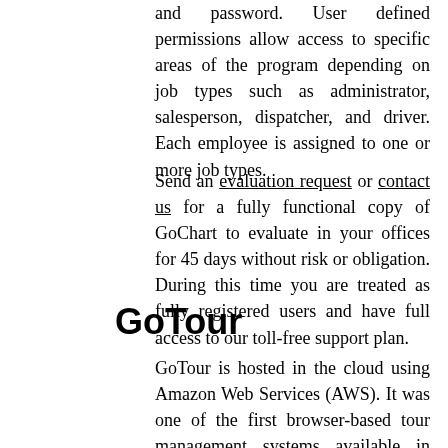and password. User defined permissions allow access to specific areas of the program depending on job types such as administrator, salesperson, dispatcher, and driver. Each employee is assigned to one or more job types.
Send an evaluation request or contact us for a fully functional copy of GoChart to evaluate in your offices for 45 days without risk or obligation. During this time you are treated as fully registered users and have full access to our toll-free support plan.
GoTour
GoTour is hosted in the cloud using Amazon Web Services (AWS). It was one of the first browser-based tour management systems available in North America. GoTour is used to manage reservations, itineraries, payables, receivables. GoTour also produces